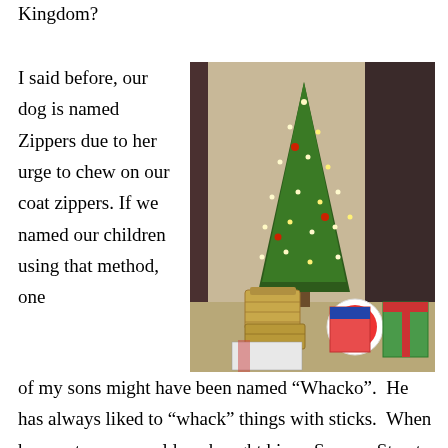Kingdom?
I said before, our dog is named Zippers due to her urge to chew on our coat zippers. If we named our children using that method, one of my sons might have been named “Whacko”. He has always liked to “whack” things with sticks. When he was two years old we bought him a Sesame Street drum set for Christmas.
[Figure (photo): A decorated Christmas tree with lights and ornaments, surrounded by wrapped presents and gifts including boxes and an Elmo toy, against a beige wall with dark curtains.]